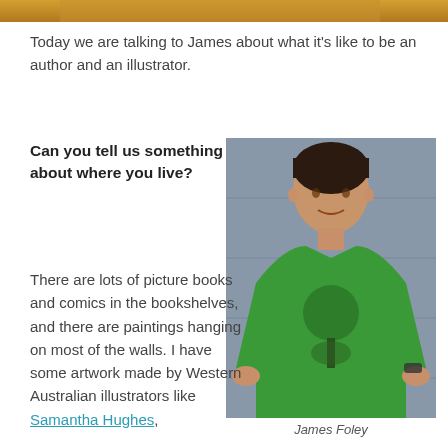[Figure (photo): Top strip showing partial photo of a person, cropped at the top of the page]
Today we are talking to James about what it's like to be an author and an illustrator.
Can you tell us something about where you live?
There are lots of picture books and comics in the bookshelves, and there are paintings hanging on most of the walls. I have some artwork made by Western Australian illustrators like Samantha Hughes,
[Figure (photo): Photo of James Foley, a young man smiling, wearing a green t-shirt with a tree design, leaning against a grey wall]
James Foley